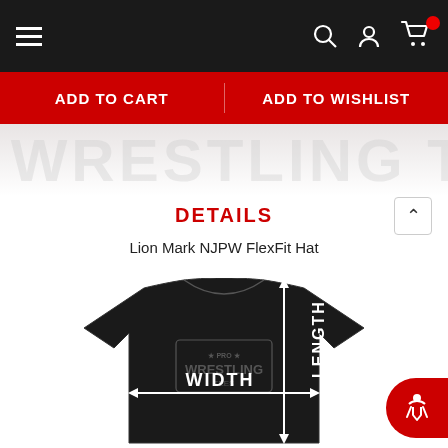Navigation bar with menu, search, account, and cart icons
ADD TO CART  ADD TO WISHLIST
DETAILS
Lion Mark NJPW FlexFit Hat
[Figure (infographic): Black t-shirt size diagram showing WIDTH (horizontal arrow) and LENGTH (vertical arrow) measurement directions, with Pro Wrestling Tees logo watermark on shirt]